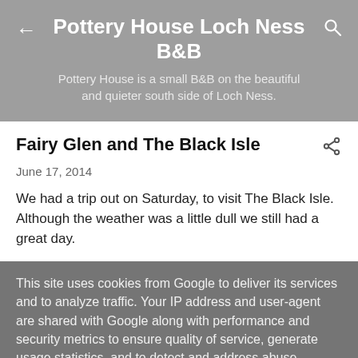Pottery House Loch Ness B&B
Pottery House is a small B&B on the beautiful and quieter south side of Loch Ness.
Fairy Glen and The Black Isle
June 17, 2014
We had a trip out on Saturday, to visit The Black Isle. Although the weather was a little dull we still had a great day.
This site uses cookies from Google to deliver its services and to analyze traffic. Your IP address and user-agent are shared with Google along with performance and security metrics to ensure quality of service, generate usage statistics, and to detect and address abuse.
LEARN MORE   OK